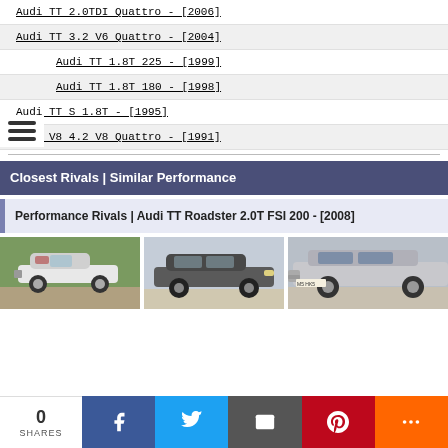Audi TT 2.0TDI Quattro - [2006]
Audi TT 3.2 V6 Quattro - [2004]
Audi TT 1.8T 225 - [1999]
Audi TT 1.8T 180 - [1998]
Audi TT S 1.8T - [1995]
Audi V8 4.2 V8 Quattro - [1991]
Closest Rivals | Similar Performance
Performance Rivals | Audi TT Roadster 2.0T FSI 200 - [2008]
[Figure (photo): Three car photos shown side by side: a white classic convertible (Triumph TR), a dark grey saloon car, and a silver sports car (Nissan Skyline GT-R)]
0 SHARES | Facebook | Twitter | Email | Pinterest | More